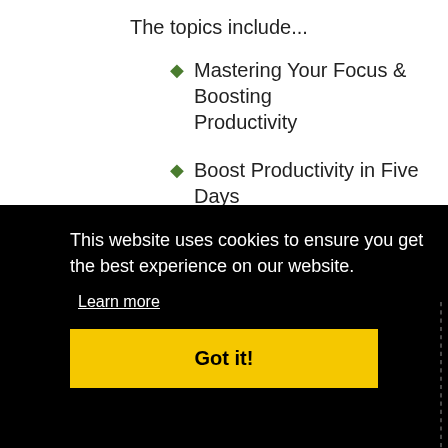The topics include...
Mastering Your Focus & Boosting Productivity
Boost Productivity in Five Days
Productivity Blueprint
Getting Sleep to Increase Productivity
This website uses cookies to ensure you get the best experience on our website.
Learn more
Got it!